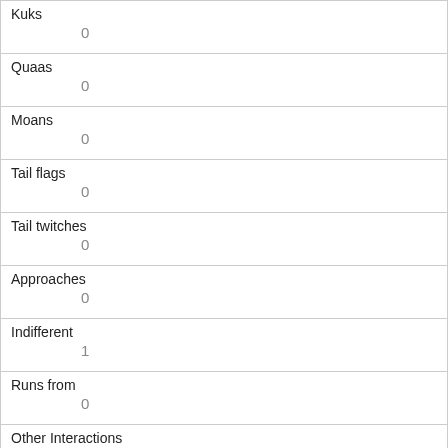| Kuks | 0 |
| Quaas | 0 |
| Moans | 0 |
| Tail flags | 0 |
| Tail twitches | 0 |
| Approaches | 0 |
| Indifferent | 1 |
| Runs from | 0 |
| Other Interactions |  |
| Lat/Long | POINT (-73.9497217674555 40.7965170072214) |